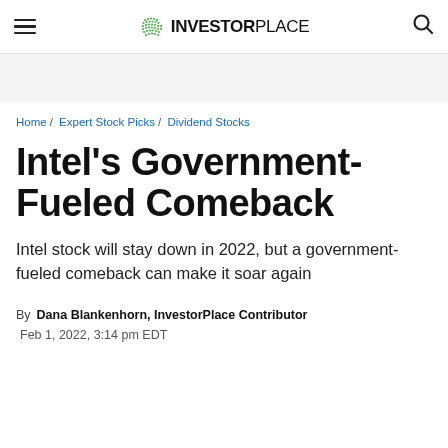InvestorPlace
Home / Expert Stock Picks / Dividend Stocks
Intel's Government-Fueled Comeback
Intel stock will stay down in 2022, but a government-fueled comeback can make it soar again
By Dana Blankenhorn, InvestorPlace Contributor  Feb 1, 2022, 3:14 pm EDT